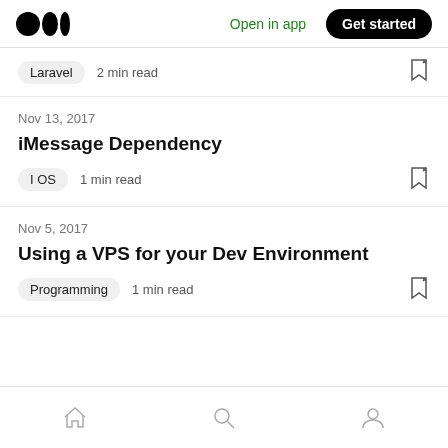Medium logo | Open in app | Get started
Laravel  2 min read
Nov 13, 2017
iMessage Dependency
I OS  1 min read
Nov 5, 2017
Using a VPS for your Dev Environment
Programming  1 min read
Home | Search | Profile